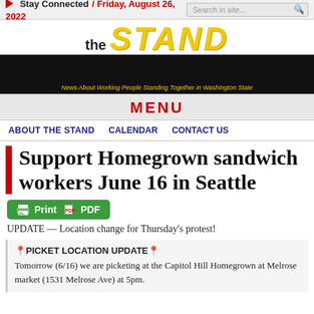Stay Connected / Friday, August 26, 2022
[Figure (logo): The Stand newspaper logo with silhouette of crowd with raised fists on black background, tagline: News About Working People Standing Together in Washington State]
MENU
ABOUT THE STAND   CALENDAR   CONTACT US
Support Homegrown sandwich workers June 16 in Seattle
[Figure (other): Green Print PDF button]
UPDATE — Location change for Thursday's protest!
📍PICKET LOCATION UPDATE📍
Tomorrow (6/16) we are picketing at the Capitol Hill Homegrown at Melrose market (1531 Melrose Ave) at 5pm.